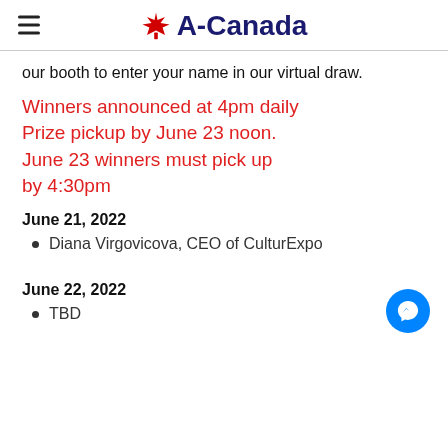A-Canada
our booth to enter your name in our virtual draw.
Winners announced at 4pm daily
Prize pickup by June 23 noon.
June 23 winners must pick up by 4:30pm
June 21, 2022
Diana Virgovicova, CEO of CulturExpo
June 22, 2022
TBD